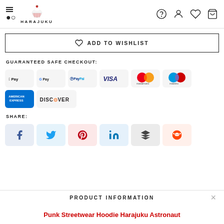HARAJUKU — navigation header with menu, search, logo, help, account, wishlist, cart
♡ ADD TO WISHLIST
GUARANTEED SAFE CHECKOUT:
[Figure (infographic): Payment method badges: Apple Pay, Google Pay, PayPal, Visa, Mastercard, Maestro, American Express, Discover]
SHARE:
[Figure (infographic): Social share buttons: Facebook, Twitter, Pinterest, LinkedIn, Buffer, Reddit]
PRODUCT INFORMATION
Punk Streetwear Hoodie Harajuku Astronaut